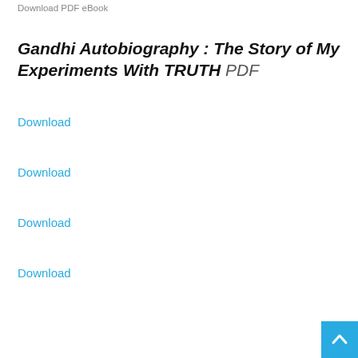Download PDF eBook
Gandhi Autobiography : The Story of My Experiments With TRUTH PDF
Download
Download
Download
Download